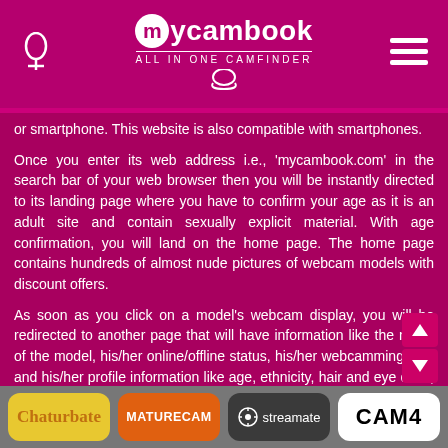mycambook - ALL IN ONE CAMFINDER
or smartphone. This website is also compatible with smartphones.
Once you enter its web address i.e., 'mycambook.com' in the search bar of your web browser then you will be instantly directed to its landing page where you have to confirm your age as it is an adult site and contain sexually explicit material. With age confirmation, you will land on the home page. The home page contains hundreds of almost nude pictures of webcam models with discount offers.
As soon as you click on a model's webcam display, you will be redirected to another page that will have information like the name of the model, his/her online/offline status, his/her webcamming site, and his/her profile information like age, ethnicity, hair and eye color, model's language, body appearance, boobs size, popular tags, and sexual orientation of the model. In addition, you can also watch a short video of the model. Besides, a crisp bio is also available. For instance, I click on one of the model's cams on mycambook, and I got this interesting bio. "Hey he... ...gain by telling you that I am
Chaturbate | MATURESCAM | streamate | CAM4